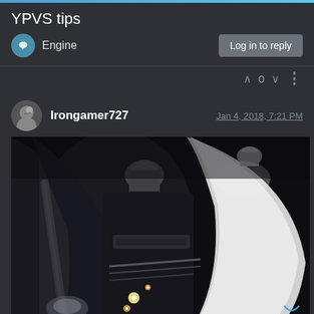YPVS tips
Engine
Log in to reply
0
Irongamer727
Jan 4, 2018, 7:21 PM
[Figure (photo): Dark photograph of mechanical engine components, possibly YPVS (Yamaha Power Valve System) valve assembly, showing metallic parts with some bright light reflections against a dark background.]